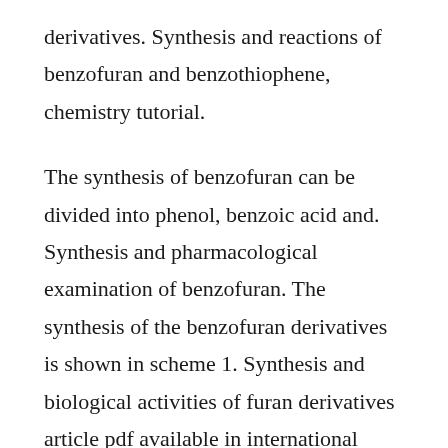derivatives. Synthesis and reactions of benzofuran and benzothiophene, chemistry tutorial.
The synthesis of benzofuran can be divided into phenol, benzoic acid and. Synthesis and pharmacological examination of benzofuran. The synthesis of the benzofuran derivatives is shown in scheme 1. Synthesis and biological activities of furan derivatives article pdf available in international journal of research in ayurveda and pharmacy 24. Synthesis and biological activities of some benzofuran